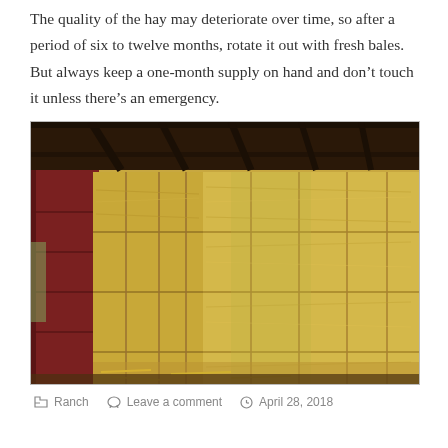The quality of the hay may deteriorate over time, so after a period of six to twelve months, rotate it out with fresh bales.  But always keep a one-month supply on hand and don’t touch it unless there’s an emergency.
[Figure (photo): Photograph of stacked hay bales inside a barn. The bales are golden-yellow and stacked in two columns, with a dark red barn wall visible on the left and wooden barn rafters overhead.]
Ranch   Leave a comment   April 28, 2018